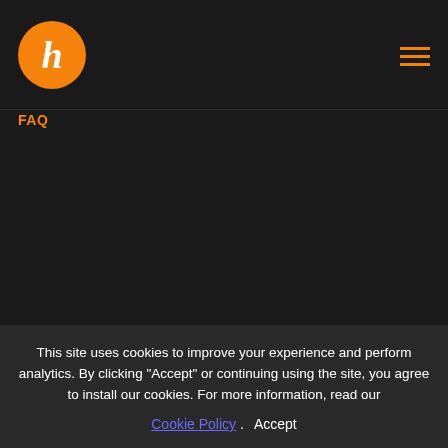h [logo] [hamburger menu]
FAQ
LEGAL
Legal notice
Privacy Policy
Cookie Policy
Terms and conditions
This site uses cookies to improve your experience and perform analytics. By clicking "Accept" or continuing using the site, you agree to install our cookies. For more information, read our Cookie Policy. Accept